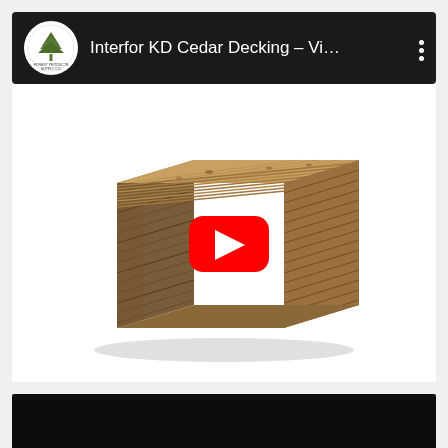[Figure (screenshot): YouTube video thumbnail card showing a stack of Interfor KD Cedar Decking boards viewed in perspective. The video header bar at top shows a circular logo with a pine tree (Forest Products Supply Co.) and the title 'Interfor KD Cedar Decking – Vi…' with a three-dot menu icon on a dark/black background. The main thumbnail area shows a large stack of cedar decking boards on a white background with a YouTube red play button overlay in the center. At the bottom is a partial dark preview strip of another video.]